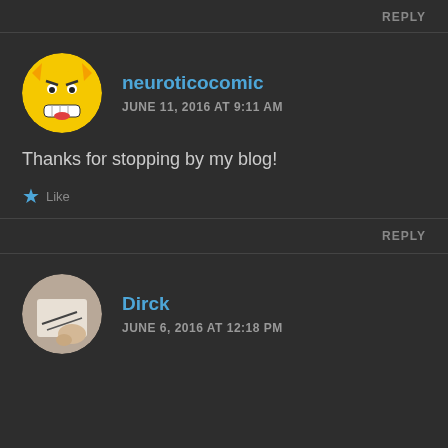REPLY
[Figure (photo): Avatar of neuroticocomic: circular yellow cartoon face with an angry expression, teeth showing]
neuroticocomic
JUNE 11, 2016 AT 9:11 AM
Thanks for stopping by my blog!
Like
REPLY
[Figure (photo): Avatar of Dirck: circular cropped photo showing part of a hand/paper with dark lines]
Dirck
JUNE 6, 2016 AT 12:18 PM